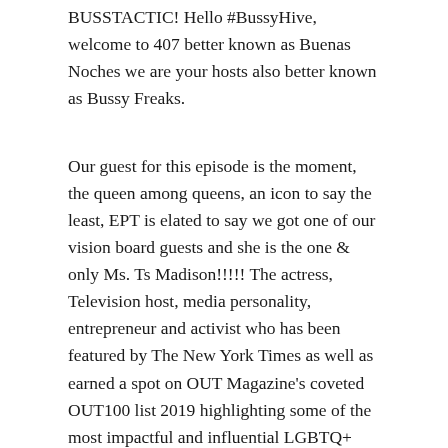BUSSTACTIC! Hello #BussyHive, welcome to 407 better known as Buenas Noches we are your hosts also better known as Bussy Freaks.
Our guest for this episode is the moment, the queen among queens, an icon to say the least, EPT is elated to say we got one of our vision board guests and she is the one & only Ms. Ts Madison!!!!! The actress, Television host, media personality, entrepreneur and activist who has been featured by The New York Times as well as earned a spot on OUT Magazine's coveted OUT100 list 2019 highlighting some of the most impactful and influential LGBTQ+ people has most recently starred in Zola, and in The Ts Madison Experience, a reality series she executive produced on WE TV. During the episode, we discuss creaming, activism, Alabama dick, religion and the importance of